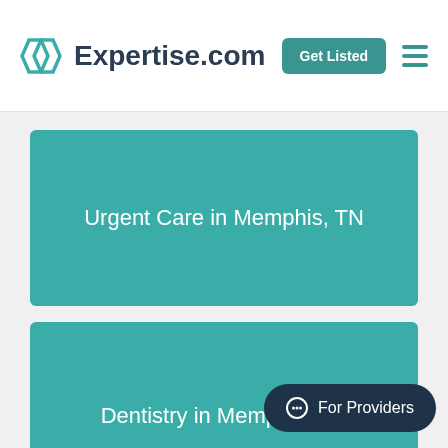Expertise.com
Urgent Care in Memphis, TN
Dentistry in Memphis, TN
For Providers